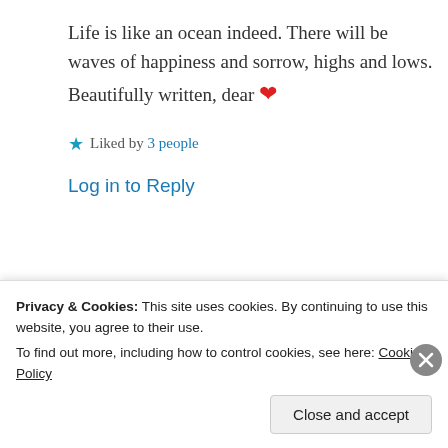Life is like an ocean indeed. There will be waves of happiness and sorrow, highs and lows. Beautifully written, dear ❤
★ Liked by 3 people
Log in to Reply
Suma Reddy
Privacy & Cookies: This site uses cookies. By continuing to use this website, you agree to their use. To find out more, including how to control cookies, see here: Cookie Policy
Close and accept